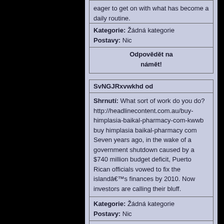eager to get on with what has become a daily routine.
Kategorie: Žádná kategorie
Postavy: Nic
Odpovědět na námět!
SvNGJRxvwkhd od
Shrnutí: What sort of work do you do? http://headlinecontent.com.au/buy-himplasia-baikal-pharmacy-com-kwwb buy himplasia baikal-pharmacy com Seven years ago, in the wake of a government shutdown caused by a $740 million budget deficit, Puerto Rican officials vowed to fix the islandâs finances by 2010. Now investors are calling their bluff.
Kategorie: Žádná kategorie
Postavy: Nic
Odpovědět na